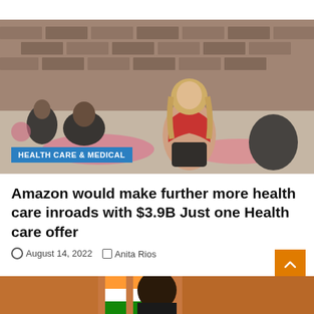[Figure (photo): Fitness class with women on yoga/exercise mats in a gym studio with brick walls; a blonde woman in a red sports bra is prominent in the foreground]
HEALTH CARE & MEDICAL
Amazon would make further more health care inroads with $3.9B Just one Health care offer
August 14, 2022   Anita Rios
[Figure (photo): Partial view of a person at the bottom of the page, partially cut off]